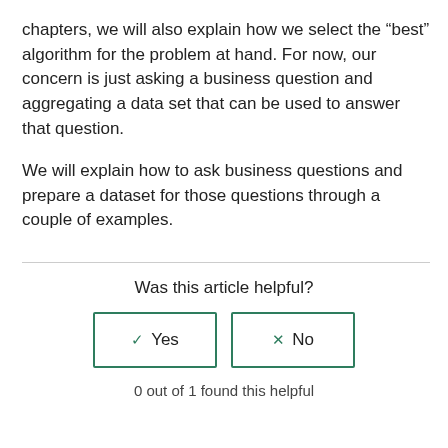chapters, we will also explain how we select the “best” algorithm for the problem at hand. For now, our concern is just asking a business question and aggregating a data set that can be used to answer that question.
We will explain how to ask business questions and prepare a dataset for those questions through a couple of examples.
Was this article helpful?
[Figure (other): Two feedback buttons labeled 'Yes' (with checkmark icon) and 'No' (with x icon), both outlined in teal/green color.]
0 out of 1 found this helpful